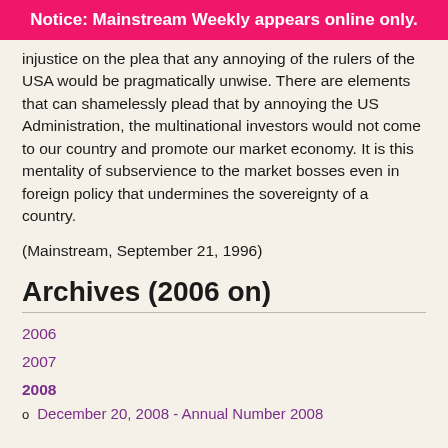Notice: Mainstream Weekly appears online only.
injustice on the plea that any annoying of the rulers of the USA would be pragmatically unwise. There are elements that can shamelessly plead that by annoying the US Administration, the multinational investors would not come to our country and promote our market economy. It is this mentality of subservience to the market bosses even in foreign policy that undermines the sovereignty of a country.
(Mainstream, September 21, 1996)
Archives (2006 on)
2006
2007
2008
December 20, 2008 - Annual Number 2008